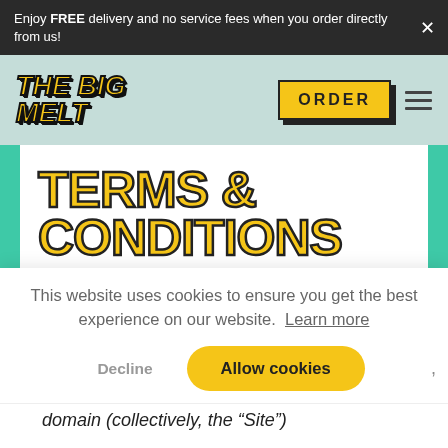Enjoy FREE delivery and no service fees when you order directly from us!
[Figure (logo): The Big Melt restaurant logo in bold yellow italic text with black outline]
[Figure (other): ORDER button in yellow with black border and drop shadow]
TERMS & CONDITIONS
This website uses cookies to ensure you get the best experience on our website. Learn more
Decline   Allow cookies
domain (collectively, the "Site")